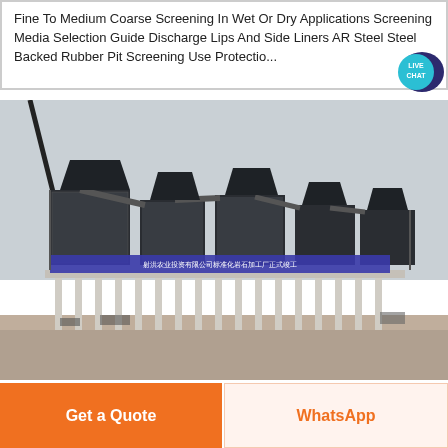Fine To Medium Coarse Screening In Wet Or Dry Applications Screening Media Selection Guide Discharge Lips And Side Liners AR Steel Steel Backed Rubber Pit Screening Use Protective...
[Figure (photo): Industrial mineral processing / screening plant facility with large multi-level structure, conveyor belts, and machinery. Chinese banner text visible. Overcast sky background with dirt ground in foreground.]
LIVE CHAT
Get a Quote
WhatsApp